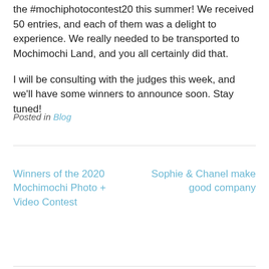the #mochiphotocontest20 this summer! We received 50 entries, and each of them was a delight to experience. We really needed to be transported to Mochimochi Land, and you all certainly did that.
I will be consulting with the judges this week, and we'll have some winners to announce soon. Stay tuned!
Posted in Blog
Winners of the 2020 Mochimochi Photo + Video Contest
Sophie & Chanel make good company